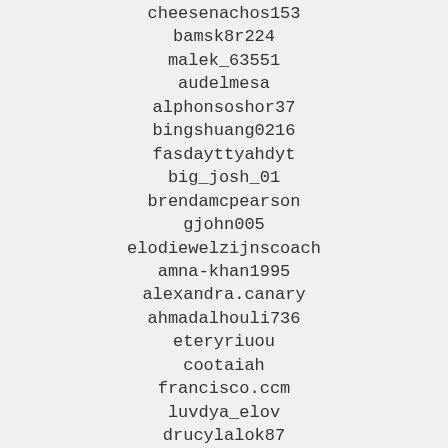cheesenachos153
bamsk8r224
malek_63551
audelmesa
alphonsoshor37
bingshuang0216
fasdayttyahdyt
big_josh_01
brendamcpearson
gjohn005
elodiewelzijnscoach
amna-khan1995
alexandra.canary
ahmadalhouli736
eteryriuou
cootaiah
francisco.ccm
luvdya_elov
drucylalok87
arunsingla84
kalebwilliams10
adriiiaaannn
lagzdins.andis
kristi.grissom
rehvon.oxmerd